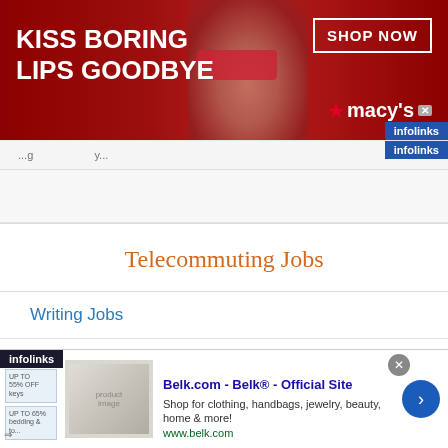[Figure (screenshot): Macy's advertisement banner: 'KISS BORING LIPS GOODBYE' with model face, SHOP NOW button, and Macy's logo on dark red background]
infolinks
Telecommuting Jobs
Writing Jobs
Online Content Jobs
Editing Jobs
[Figure (screenshot): Infolinks bottom ad: Belk.com - Belk® - Official Site. Shop for clothing, handbags, jewelry, beauty, home & more! www.belk.com]